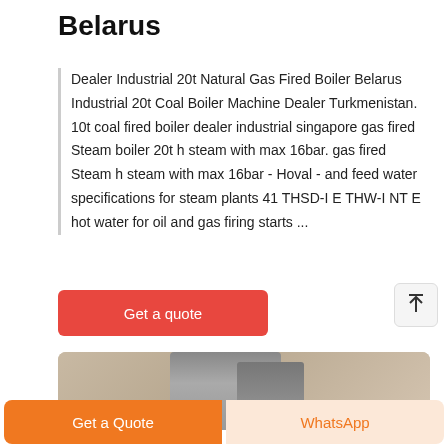Belarus
Dealer Industrial 20t Natural Gas Fired Boiler Belarus Industrial 20t Coal Boiler Machine Dealer Turkmenistan. 10t coal fired boiler dealer industrial singapore gas fired Steam boiler 20t h steam with max 16bar. gas fired Steam h steam with max 16bar - Hoval - and feed water specifications for steam plants 41 THSD-I E THW-I NT E hot water for oil and gas firing starts ...
[Figure (other): Red 'Get a quote' button]
[Figure (photo): Photo of an industrial boiler or heating equipment mounted on a wall]
[Figure (other): Bottom navigation bar with 'Get a Quote' orange button and 'WhatsApp' button]